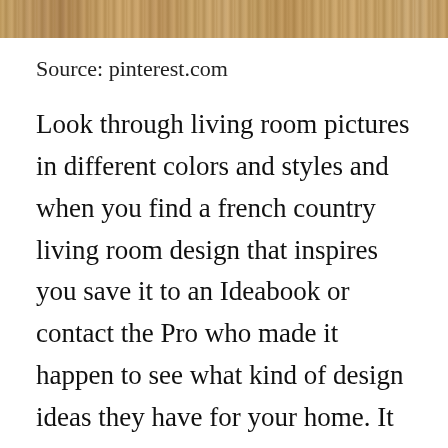[Figure (photo): Partial cropped image strip at top of page showing a decorative/interior scene in warm brown tones]
Source: pinterest.com
Look through living room pictures in different colors and styles and when you find a french country living room design that inspires you save it to an Ideabook or contact the Pro who made it happen to see what kind of design ideas they have for your home. It might be a tad early for talking Christmas but it is almost October. It offers a very subtle blend [CLOSE X] e romance and